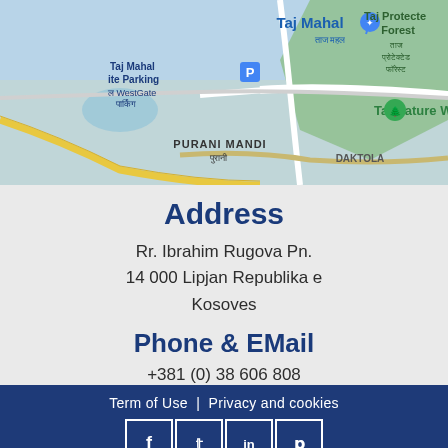[Figure (map): Google Map screenshot showing area around Taj Mahal, Taj Nature Walk, Taj Protected Forest, Purani Mandi, with roads and geographic features visible]
Address
Rr. Ibrahim Rugova Pn.
14 000 Lipjan Republika e Kosoves
Phone & EMail
+381 (0) 38 606 808
Term of Use | Privacy and cookies
[Figure (infographic): Social media icons: Facebook, Twitter, LinkedIn, Pinterest in white on dark blue background with white borders]